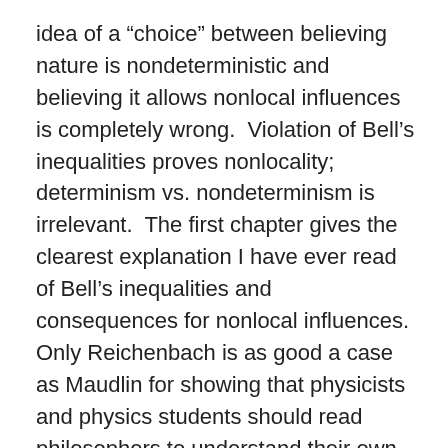idea of a “choice” between believing nature is nondeterministic and believing it allows nonlocal influences is completely wrong. Violation of Bell’s inequalities proves nonlocality; determinism vs. nondeterminism is irrelevant. The first chapter gives the clearest explanation I have ever read of Bell’s inequalities and consequences for nonlocal influences. Only Reichenbach is as good a case as Maudlin for showing that physicists and physics students should read philosophers to understand their own field.
Maudlin’s conclusion is, as the title of this post indicates, that physicists are forced with a choice of what to believe about the nature of the world–although not the one we’ve sometimes thought we were faced with–and all of the choices are unappealing, in the sense that there are good arguments against each of them.